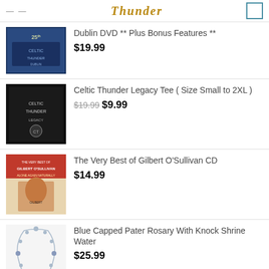Thunder
Dublin DVD ** Plus Bonus Features ** $19.99
Celtic Thunder Legacy Tee ( Size Small to 2XL ) $19.99 $9.99
The Very Best of Gilbert O'Sullivan CD $14.99
Blue Capped Pater Rosary With Knock Shrine Water $25.99
BEST SELLING
CELTIC THUNDER 'FOR OUR FANS' CD $19.99